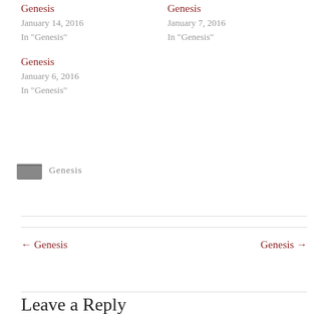Genesis
January 14, 2016
In "Genesis"
Genesis
January 7, 2016
In "Genesis"
Genesis
January 6, 2016
In "Genesis"
Genesis
← Genesis
Genesis →
Leave a Reply